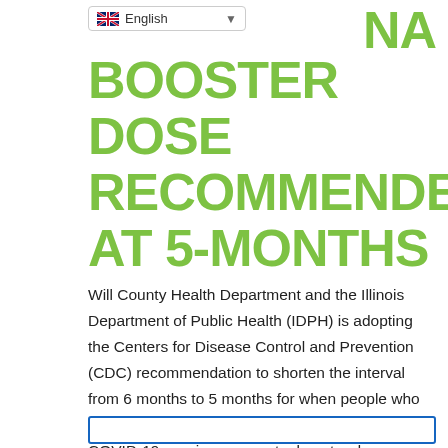English (language selector)
BOOSTER DOSE RECOMMENDED AT 5-MONTHS
Will County Health Department and the Illinois Department of Public Health (IDPH) is adopting the Centers for Disease Control and Prevention (CDC) recommendation to shorten the interval from 6 months to 5 months for when people who have received the Moderna or Pfizer-BioNTech COVID-19 vaccines can get a booster dose.